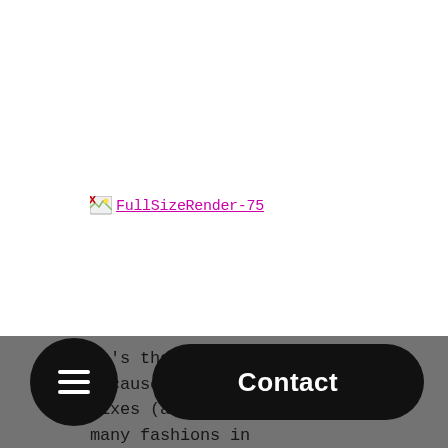[Figure (other): Broken image placeholder icon followed by a pink/magenta hyperlink text reading 'FullSizeRender-75']
It's the perfect Spring shade because this color mixes (and matches) well with many fashions in several colors. The daffodil colored eyeshadow, nail polish, and nail
[Figure (other): Bottom navigation bar with a circular black menu button (hamburger icon) on the left and a black rounded rectangle Contact button on the right]